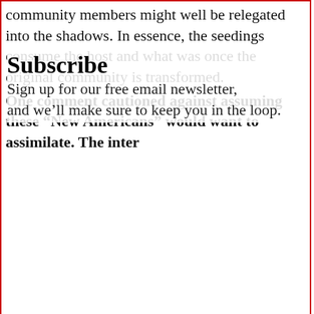community members might well be relegated into the shadows. In essence, the seedings consume the host and what was once the original community is transformed.
One comment cautioned against assuming these "New Americans" would want to assimilate. The inter...
Subscribe
Sign up for our free email newsletter, and we'll make sure to keep you in the loop.
First Name
Promoted
[Figure (photo): Aerial view of a cruise ship deck with pools and colorful walkways]
Actual Pictures From Cruise Ships That Will Make You Think Twice Before Booking A Trip
🔥 106,768
[Figure (photo): Elderly person sitting on a bed in a dim room, appearing distressed]
4 Warning Signs Of Dementia (#2 Is Scary)
🔥 48,519